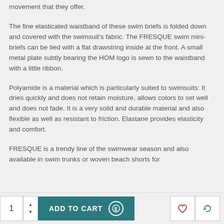movement that they offer.
The fine elasticated waistband of these swim briefs is folded down and covered with the swimsuit's fabric. The FRESQUE swim mini-briefs can be tied with a flat drawstring inside at the front. A small metal plate subtly bearing the HOM logo is sewn to the waistband with a little ribbon.
Polyamide is a material which is particularly suited to swimsuits: It dries quickly and does not retain moisture, allows colors to set well and does not fade. It is a very solid and durable material and also flexible as well as resistant to friction. Elastane provides elasticity and comfort.
FRESQUE is a trendy line of the swimwear season and also available in swim trunks or woven beach shorts for
1  ADD TO CART